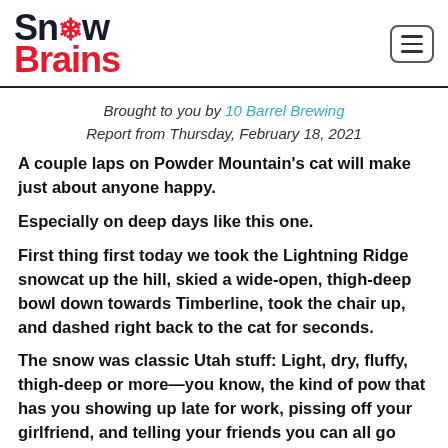SnowBrains
Brought to you by 10 Barrel Brewing
Report from Thursday, February 18, 2021
A couple laps on Powder Mountain's cat will make just about anyone happy.
Especially on deep days like this one.
First thing first today we took the Lightning Ridge snowcat up the hill, skied a wide-open, thigh-deep bowl down towards Timberline, took the chair up, and dashed right back to the cat for seconds.
The snow was classic Utah stuff: Light, dry, fluffy, thigh-deep or more—you know, the kind of pow that has you showing up late for work, pissing off your girlfriend, and telling your friends you can all go grab a beer or head back to the car after just